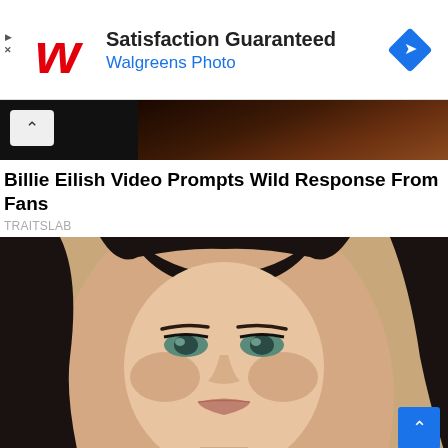[Figure (screenshot): Walgreens Photo advertisement banner with Walgreens cursive W logo in red, text 'Satisfaction Guaranteed' in bold black and 'Walgreens Photo' in blue, with a blue diamond navigation icon on the right, and small play/close icons on the left edge.]
[Figure (screenshot): Dark video strip showing a dark background scene with a small white chevron-up button box on the left.]
Billie Eilish Video Prompts Wild Response From Fans
TRAITSLAB
[Figure (photo): Close-up portrait photo of a young woman with dark long hair, blue-green eyes, defined eye makeup, and light lips against a warm beige/wood background.]